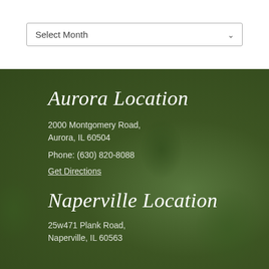[Figure (screenshot): Dropdown UI element with 'Select Month' placeholder and a chevron arrow on a white background]
[Figure (photo): Dark green background with blurred green plant/garden imagery overlay]
Aurora Location
2000 Montgomery Road,
Aurora, IL 60504
Phone: (630) 820-8088
Get Directions
Naperville Location
25w471 Plank Road,
Naperville, IL 60563